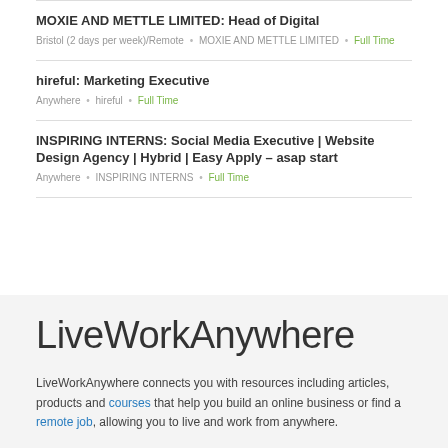MOXIE AND METTLE LIMITED: Head of Digital
Bristol (2 days per week)/Remote • MOXIE AND METTLE LIMITED • Full Time
hireful: Marketing Executive
Anywhere • hireful • Full Time
INSPIRING INTERNS: Social Media Executive | Website Design Agency | Hybrid | Easy Apply – asap start
Anywhere • INSPIRING INTERNS • Full Time
LiveWorkAnywhere
LiveWorkAnywhere connects you with resources including articles, products and courses that help you build an online business or find a remote job, allowing you to live and work from anywhere.